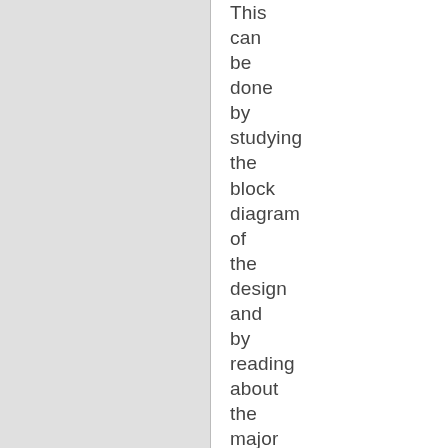This can be done by studying the block diagram of the design and by reading about the major ICs used the design. If the design